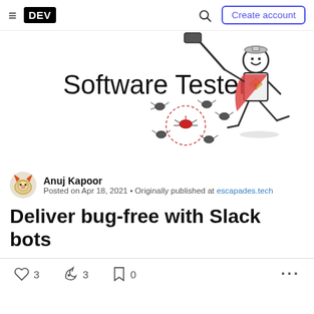DEV | Create account
[Figure (illustration): Software Tester? illustration showing a stick figure superhero holding a hammer with bugs around it]
Anuj Kapoor
Posted on Apr 18, 2021 • Originally published at escapades.tech
Deliver bug-free with Slack bots
♡ 3  🤟 3  □ 0  ...